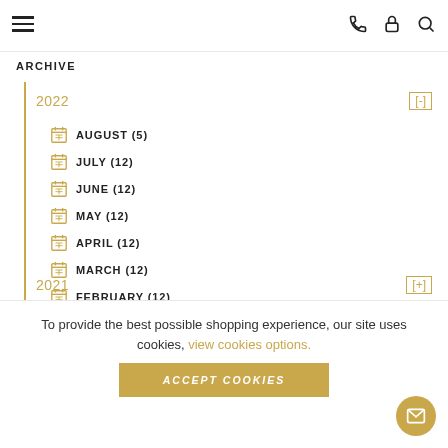Navigation bar with hamburger menu and icons
ARCHIVE
2022 [-]
AUGUST (5)
JULY (12)
JUNE (12)
MAY (12)
APRIL (12)
MARCH (12)
FEBRUARY (12)
JANUARY (12)
2021 [+]
To provide the best possible shopping experience, our site uses cookies, view cookies options.
ACCEPT COOKIES